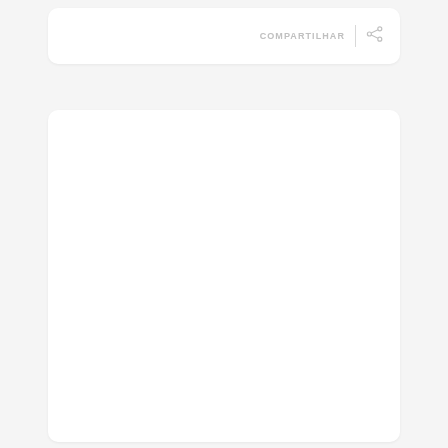COMPARTILHAR
[Figure (other): Share icon (network/social share symbol with three circles connected by lines)]
[Figure (other): Large white rounded card area, empty content region below the share bar]